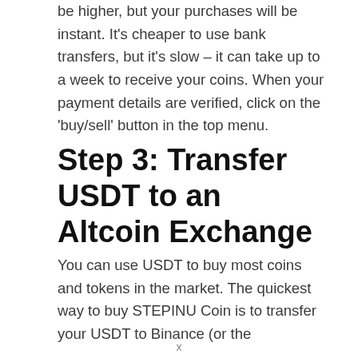be higher, but your purchases will be instant. It's cheaper to use bank transfers, but it's slow – it can take up to a week to receive your coins. When your payment details are verified, click on the 'buy/sell' button in the top menu.
Step 3: Transfer USDT to an Altcoin Exchange
You can use USDT to buy most coins and tokens in the market. The quickest way to buy STEPINU Coin is to transfer your USDT to Binance (or the